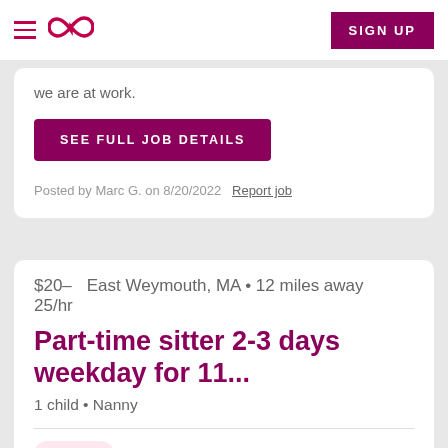Navigation bar with hamburger menu, Care.com logo, and SIGN UP button
we are at work.
SEE FULL JOB DETAILS
Posted by Marc G. on 8/20/2022   Report job
$20–25/hr   East Weymouth, MA • 12 miles away
Part-time sitter 2-3 days weekday for 11...
1 child • Nanny
Weekly
Part Time Day time Weekdays